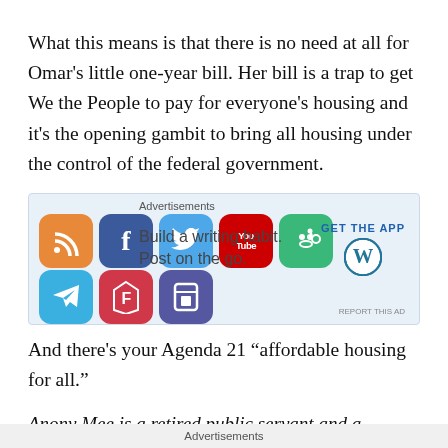What this means is that there is no need at all for Omar's little one-year bill. Her bill is a trap to get We the People to pay for everyone's housing and it's the opening gambit to bring all housing under the control of the federal government.
[Figure (other): An advertisement block showing social media app icons (RSS, Facebook, Twitter, YouTube, Reddit, Telegram, Flipboard, Repost) with text 'Build a writing habit. Post on the go.' and a WordPress 'GET THE APP' call to action.]
And there's your Agenda 21 “affordable housing for all.”
Anony Mee is a retired public servant and a landlord, very
Advertisements